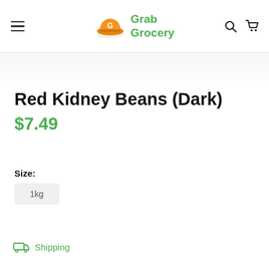Grab Grocery
Red Kidney Beans (Dark)
$7.49
Size:
1kg
Shipping